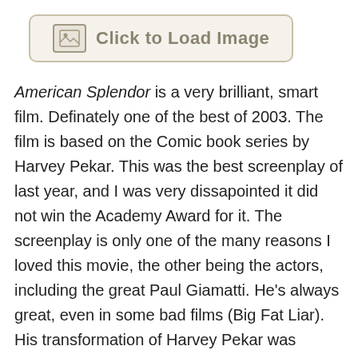[Figure (other): Click to Load Image placeholder button with image icon]
American Splendor is a very brilliant, smart film. Definately one of the best of 2003. The film is based on the Comic book series by Harvey Pekar. This was the best screenplay of last year, and I was very dissapointed it did not win the Academy Award for it. The screenplay is only one of the many reasons I loved this movie, the other being the actors, including the great Paul Giamatti. He's always great, even in some bad films (Big Fat Liar). His transformation of Harvey Pekar was brilliant, he both acted and sounded like the real Harvey, who makes appearences in the film as himself. Another reason being why I loved this film so much was it's documentary/motion picture style, it would go from a scene from the film, to a documentary style interview with the real life Harvey Pekar. This was